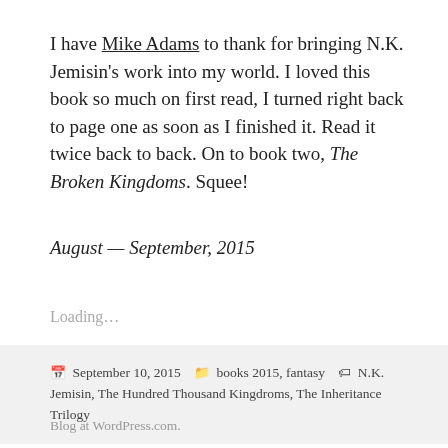I have Mike Adams to thank for bringing N.K. Jemisin's work into my world. I loved this book so much on first read, I turned right back to page one as soon as I finished it. Read it twice back to back. On to book two, The Broken Kingdoms. Squee!
August — September, 2015
Loading…
September 10, 2015   books 2015, fantasy   N.K. Jemisin, The Hundred Thousand Kingdroms, The Inheritance Trilogy
Blog at WordPress.com.